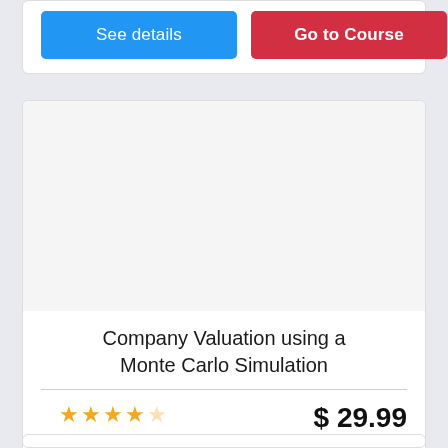[Figure (other): Partial top card with See details and Go to Course buttons]
Company Valuation using a Monte Carlo Simulation
Enrolled: 85
$ 29.99 per course
See details
Go to Course